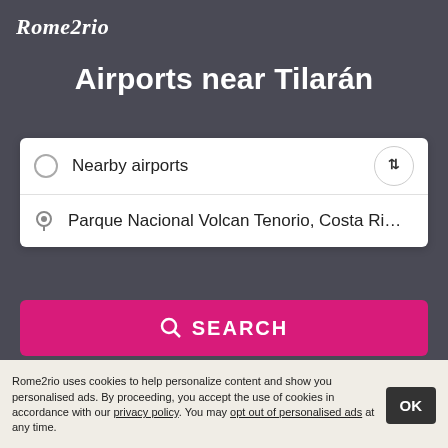Rome2rio
Airports near Tilarán
Nearby airports
Parque Nacional Volcan Tenorio, Costa Ri…
SEARCH
Search accommodation with Expedia
Rome2rio uses cookies to help personalize content and show you personalised ads. By proceeding, you accept the use of cookies in accordance with our privacy policy. You may opt out of personalised ads at any time.